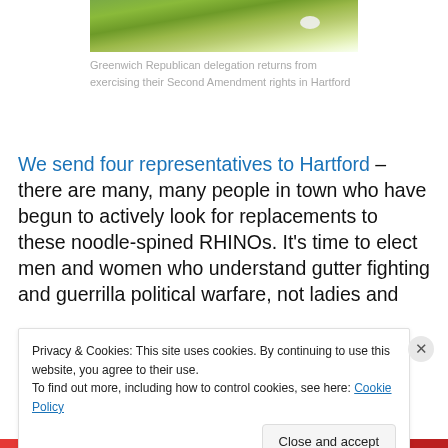[Figure (photo): Partial photo of a grassy field, top portion visible, with a white bird or object in the distance]
Greenwich Republican delegation returns from exercising their Second Amendment rights in Hartford
We send four representatives to Hartford – there are many, many people in town who have begun to actively look for replacements to these noodle-spined RHINOs. It's time to elect men and women who understand gutter fighting and guerrilla political warfare, not ladies and
Privacy & Cookies: This site uses cookies. By continuing to use this website, you agree to their use.
To find out more, including how to control cookies, see here: Cookie Policy
Close and accept